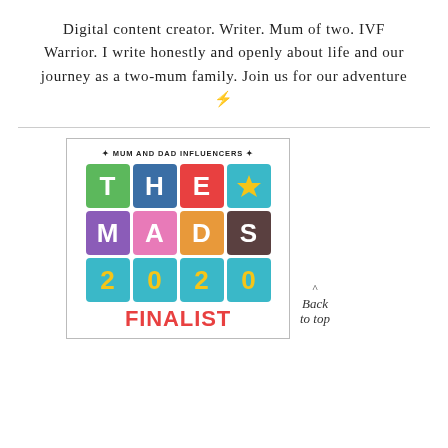Digital content creator. Writer. Mum of two. IVF Warrior. I write honestly and openly about life and our journey as a two-mum family. Join us for our adventure ⚡
[Figure (logo): The MADs 2020 Finalist badge — Mum and Dad Influencers. Colourful grid showing letters T, H, E (with star), M, A, D, S and numbers 2, 0, 2, 0. Red text FINALIST at bottom.]
Back to top